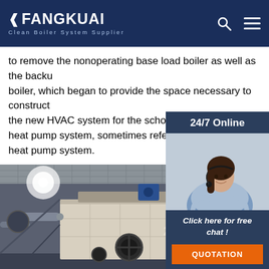FANGKUAI Clean Boiler System Supplier
to remove the nonoperating base load boiler as well as the backup boiler, which began to provide the space necessary to construct the new HVAC system for the schoola boiler-tow… heat pump system, sometimes referred to as a d… heat pump system.
Get Price
[Figure (photo): Customer service agent photo with 24/7 Online chat panel and QUOTATION button overlay on right side]
[Figure (photo): Industrial boiler room interior with large boiler equipment, pipes, lights, and industrial machinery]